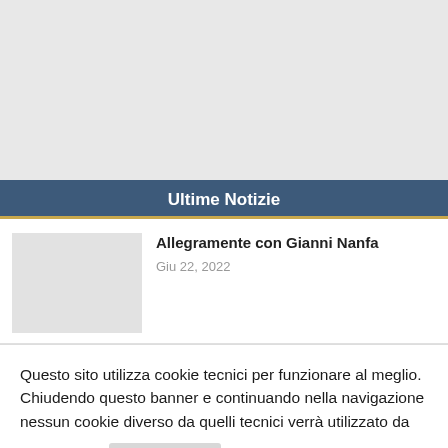[Figure (other): Gray placeholder banner area at top of page]
Ultime Notizie
[Figure (photo): Gray thumbnail placeholder image for news article]
Allegramente con Gianni Nanfa
Giu 22, 2022
Questo sito utilizza cookie tecnici per funzionare al meglio. Chiudendo questo banner e continuando nella navigazione nessun cookie diverso da quelli tecnici verrà utilizzato da questo sito.
Cookie policy
Cookie Settings
Accetto
X